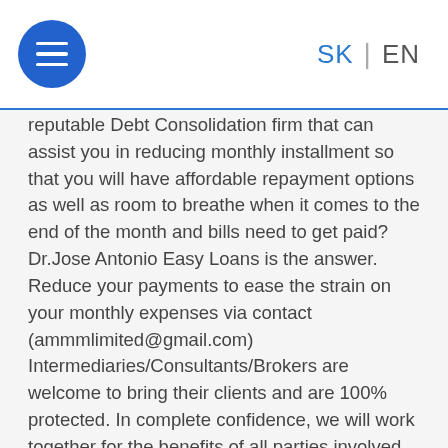SK | EN
reputable Debt Consolidation firm that can assist you in reducing monthly installment so that you will have affordable repayment options as well as room to breathe when it comes to the end of the month and bills need to get paid? Dr.Jose Antonio Easy Loans is the answer. Reduce your payments to ease the strain on your monthly expenses via contact (ammmlimited@gmail.com) Intermediaries/Consultants/Brokers are welcome to bring their clients and are 100% protected. In complete confidence, we will work together for the benefits of all parties involved. Do not keep your financial problems to yourself in order for you not to be debt master or financial stress up, which is why you must contact us quickly for a solution to your financial problems. It will be a great joy to us when you are financially stable Email us via